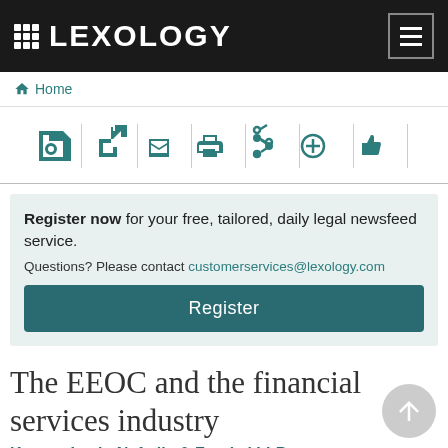LEXOLOGY
Home
[Figure (screenshot): Toolbar with icons: save, open, email, print, share, add, like]
Register now for your free, tailored, daily legal newsfeed service. Questions? Please contact customerservices@lexology.com Register
The EEOC and the financial services industry
Kramer Levin Naftalis & Frankel LLP